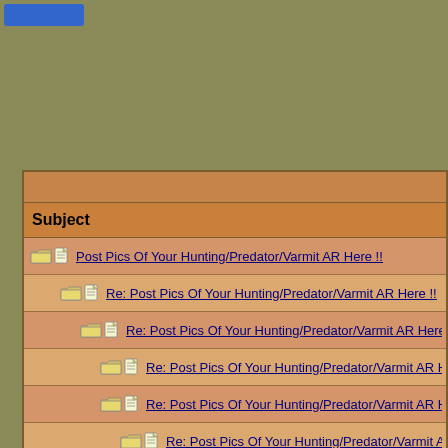[Figure (screenshot): Forum thread list showing nested replies to 'Post Pics Of Your Hunting/Predator/Varmit AR Here !!' with folder and document icons indicating thread depth]
Subject
Post Pics Of Your Hunting/Predator/Varmit AR Here !!
Re: Post Pics Of Your Hunting/Predator/Varmit AR Here !!
Re: Post Pics Of Your Hunting/Predator/Varmit AR Here !!
Re: Post Pics Of Your Hunting/Predator/Varmit AR Here !!
Re: Post Pics Of Your Hunting/Predator/Varmit AR Here !!
Re: Post Pics Of Your Hunting/Predator/Varmit AR Here
Re: Post Pics Of Your Hunting/Predator/Varmit AR He
Re: Post Pics Of Your Hunting/Predator/Varmit AR Here
Re: Post Pics Of Your Hunting/Predator/Varmit AR He
Re: Post Pics Of Your Hunting/Predator/Varmit AR Here !!
Re: Post Pics Of Your Hunting/Predator/Varmit AR Here !!
Re: Post Pics Of Your Hunting/Predator/Varmit AR Here !!
Re: Post Pics Of Your Hunting/Predator/Varmit AR Here